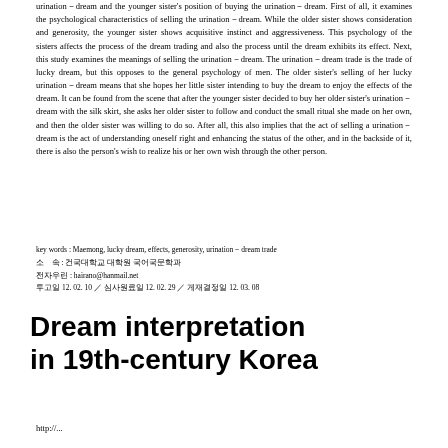urination-dream and the younger sister's position of buying the urination-dream. First of all, it examines the psychological characteristics of selling the urination-dream. While the older sister shows consideration and generosity, the younger sister shows acquisitive instinct and aggressiveness. This psychology of the sisters affects the process of the dream trading and also the process until the dream exhibits its effect. Next, this study examines the meanings of selling the urination-dream. The urination-dream trade is the trade of lucky dream, but this opposes to the general psychology of men. The older sister's selling of her lucky urination-dream means that she hopes her little sister intending to buy the dream to enjoy the effects of the dream. It can be found from the scene that after the younger sister decided to buy her older sister's urination-dream with the silk skirt, she asks her older sister to follow and conduct the small ritual she made on her own, and then the older sister was willing to do so. After all, this also implies that the act of selling a urination-dream is the act of understanding oneself right and enhancing the status of the other, and in the backside of it, there is also the person's wish to realize his or her own wish through the other person.
key words : Maemong, lucky dream, effects, generosity, urination-dream trade
소    속 : 건국대학교 대학원 국어국문학과
전자우린 : hairano@hanmail.net
투고일 12. 02. 10 / 심사원료일 12. 02. 29 / 게재결정일 12. 03. 08
Dream interpretation in 19th-century Korea
http://...